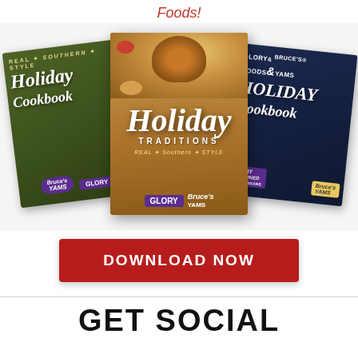Foods!
[Figure (photo): Three holiday cookbooks displayed side by side: left is Bruce's Yams / Glory Foods Holiday Cookbook (green cover), center is Holiday Traditions Real Southern Style Glory Foods / Bruce's Yams cookbook (wood-grain cover with turkey photo), right is Glory Foods & Bruce's Yams Holiday Cookbook (navy blue cover with canned goods)]
DOWNLOAD NOW
GET SOCIAL